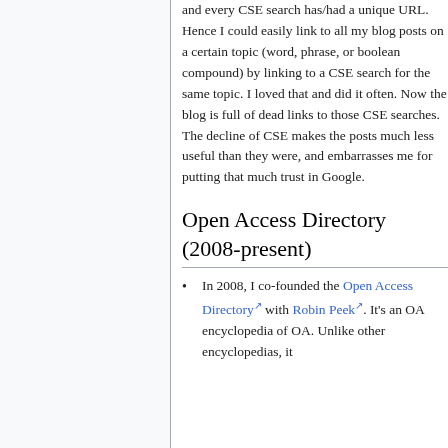and every CSE search has/had a unique URL. Hence I could easily link to all my blog posts on a certain topic (word, phrase, or boolean compound) by linking to a CSE search for the same topic. I loved that and did it often. Now the blog is full of dead links to those CSE searches. The decline of CSE makes the posts much less useful than they were, and embarrasses me for putting that much trust in Google.
Open Access Directory (2008-present)
In 2008, I co-founded the Open Access Directory with Robin Peek. It's an OA encyclopedia of OA. Unlike other encyclopedias, it